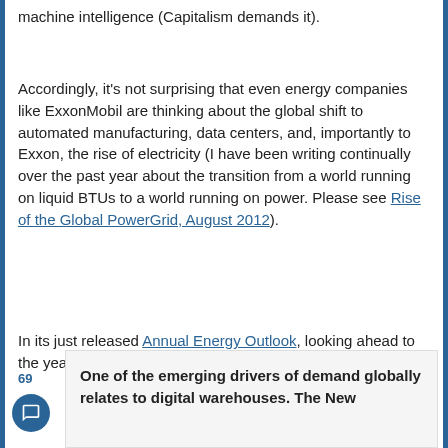machine intelligence (Capitalism demands it).
Accordingly, it's not surprising that even energy companies like ExxonMobil are thinking about the global shift to automated manufacturing, data centers, and, importantly to Exxon, the rise of electricity (I have been writing continually over the past year about the transition from a world running on liquid BTUs to a world running on power. Please see Rise of the Global PowerGrid, August 2012).
In its just released Annual Energy Outlook, looking ahead to the year 2040, Exxon writes:
69
One of the emerging drivers of demand globally relates to digital warehouses. The New